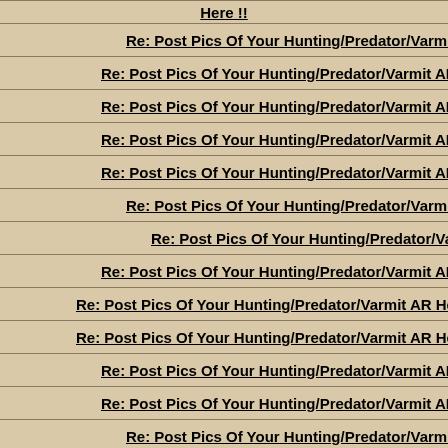Here !!
Re: Post Pics Of Your Hunting/Predator/Varmit AR Here !!
Re: Post Pics Of Your Hunting/Predator/Varmit AR Here !!
Re: Post Pics Of Your Hunting/Predator/Varmit AR Here !!
Re: Post Pics Of Your Hunting/Predator/Varmit AR Here !!
Re: Post Pics Of Your Hunting/Predator/Varmit AR Here !!
Re: Post Pics Of Your Hunting/Predator/Varmit AR Here !!
Re: Post Pics Of Your Hunting/Predator/Varmit AR Here !!
Re: Post Pics Of Your Hunting/Predator/Varmit AR Here !!
Re: Post Pics Of Your Hunting/Predator/Varmit AR Here !!
Re: Post Pics Of Your Hunting/Predator/Varmit AR Here !!
Re: Post Pics Of Your Hunting/Predator/Varmit AR Here !!
Re: Post Pics Of Your Hunting/Predator/Varmit AR Here !!
Re: Post Pics Of Your Hunting/Predator/Varmit AR Here !!
Re: Post Pics Of Your Hunting/Predator/Varmit AR Here !!
Re: Post Pics Of Your Hunting/Predator/Varmit AR Here !!
Re: Post Pics Of Your Hunting/Predator/Varmit AR Here !!
Re: Post Pics Of Your Hunting/Predator/Varmit AR Here !!